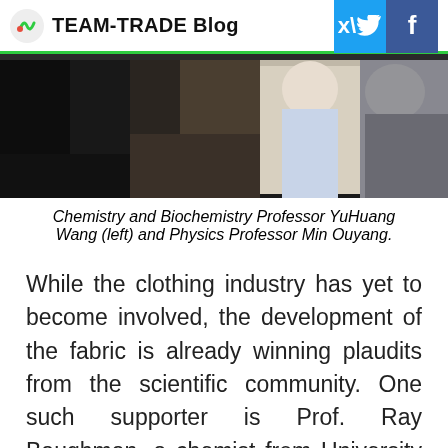TEAM-TRADE Blog
[Figure (photo): Two researchers in a laboratory setting, one wearing a white coat and the other in a grey jacket, engaged in discussion.]
Chemistry and Biochemistry Professor YuHuang Wang (left) and Physics Professor Min Ouyang.
While the clothing industry has yet to become involved, the development of the fabric is already winning plaudits from the scientific community. One such supporter is Prof. Ray Baughman, a chemist from University of Texas, who stated that, “This pioneering work provides an exciting new switchable characteristic for comfort-